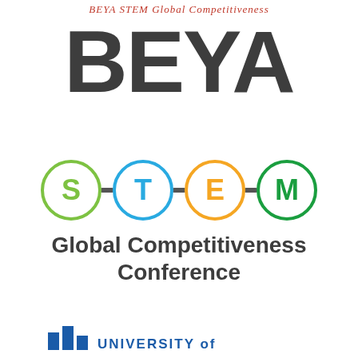BEYA STEM Global Competitiveness Conference
BEYA
[Figure (logo): BEYA STEM logo with four colored circles connected by bars: S (green), T (blue), E (orange), M (dark green)]
Global Competitiveness Conference
[Figure (logo): University logo with blue block elements and UNIVERSITY OF text]